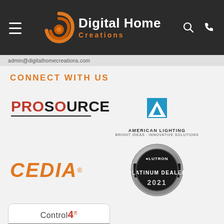[Figure (logo): Digital Home Creations logo in dark header bar with hamburger menu, search and phone icons]
admin@digitalhomecreations.com
CONNECT WITH US
[Figure (logo): ProSource logo in red and black with underline]
[Figure (logo): American Lighting logo with blue A triangle and text BRIGHT IDEAS - INNOVATIVE SOLUTIONS]
[Figure (logo): CEDIA logo in orange italic text with registered trademark]
[Figure (logo): Control4 logo in rounded rectangle box with Authorized PLATINUM text on grey background]
[Figure (logo): Lutron Platinum Dealer 2021 badge - circular silver and black badge]